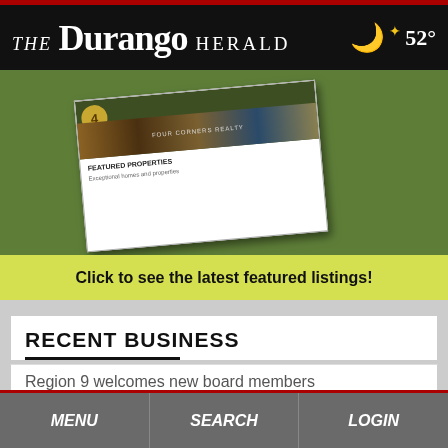THE Durango HERALD  52°
[Figure (illustration): Real estate advertisement showing a brochure on green grass background, with text 'Click to see the latest featured listings!']
RECENT BUSINESS
Region 9 welcomes new board members
Local EXIT Realty affiliated office welcomes new team members
MENU  SEARCH  LOGIN